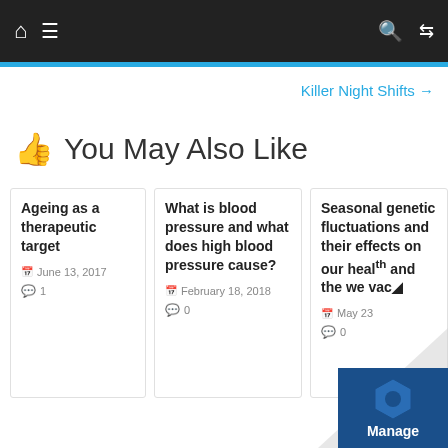Navigation bar with home, menu, search, and shuffle icons
Killer Night Shifts →
👍 You May Also Like
Ageing as a therapeutic target
June 13, 2017
1
What is blood pressure and what does high blood pressure cause?
February 18, 2018
0
Seasonal genetic fluctuations and their effects on our health and the we vac...
May 23
0